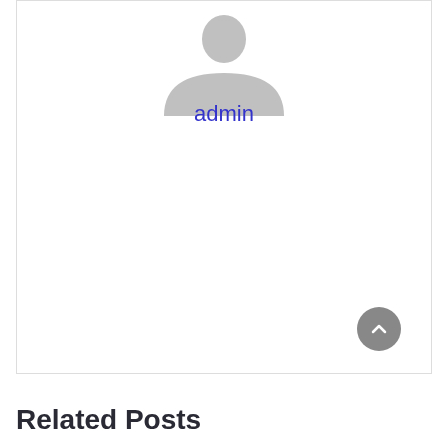[Figure (illustration): Default user avatar placeholder image — gray silhouette of a person on white background]
admin
Related Posts